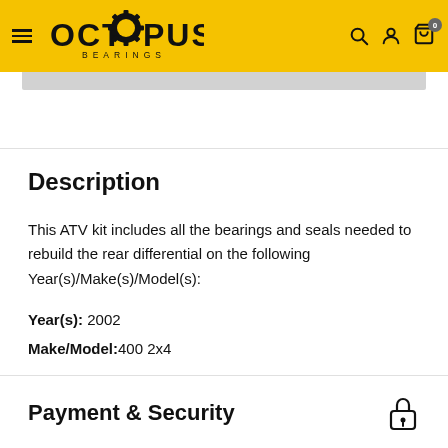OCTOPUS BEARINGS
Description
This ATV kit includes all the bearings and seals needed to rebuild the rear differential on the following Year(s)/Make(s)/Model(s):
Year(s): 2002
Make/Model:400 2x4
Payment & Security